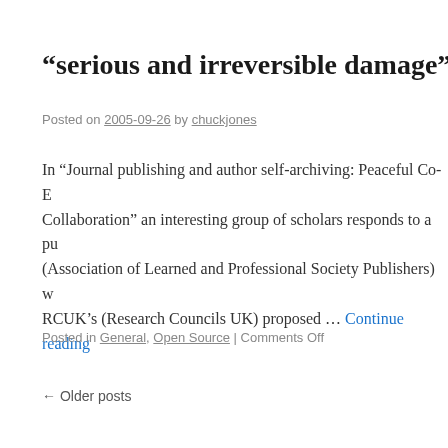“serious and irreversible damage”?
Posted on 2005-09-26 by chuckjones
In “Journal publishing and author self-archiving: Peaceful Co-E… Collaboration” an interesting group of scholars responds to a pu… (Association of Learned and Professional Society Publishers) w… RCUK’s (Research Councils UK) proposed … Continue reading
Posted in General, Open Source | Comments Off
← Older posts